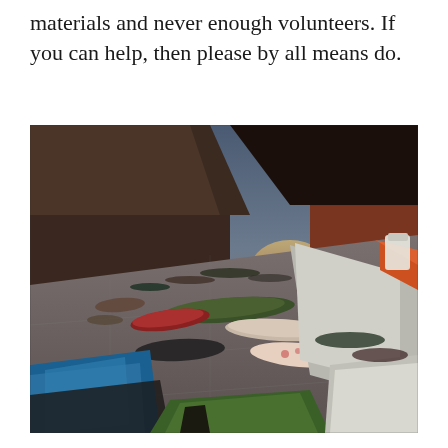materials and never enough volunteers. If you can help, then please by all means do.
[Figure (photo): A street-level photograph showing a homeless encampment along a sidewalk beside a large brick building. Sleeping bags, tents, and scattered belongings cover the pavement. The scene is taken at dusk or dawn with dim light in the background. In the foreground, blue and green tents and sleeping bags are visible; a white and orange tent is on the right side.]